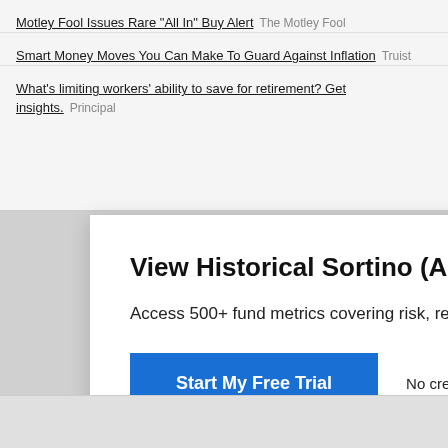Motley Fool Issues Rare "All In" Buy Alert  The Motley Fool
Smart Money Moves You Can Make To Guard Against Inflation  Truist
What's limiting workers' ability to save for retirement? Get insights.  Principal
View Historical Sortino (All) for RMOMX
Access 500+ fund metrics covering risk, returns, exposu…
Start My Free Trial
No credit card required.
Already a subscriber? Sign in.